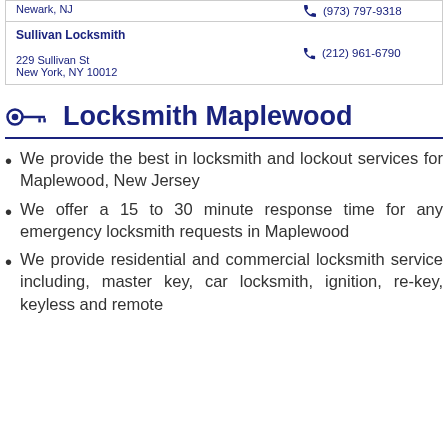| Sullivan Locksmith
229 Sullivan St
New York, NY 10012 | (212) 961-6790 |
Locksmith Maplewood
We provide the best in locksmith and lockout services for Maplewood, New Jersey
We offer a 15 to 30 minute response time for any emergency locksmith requests in Maplewood
We provide residential and commercial locksmith service including, master key, car locksmith, ignition, re-key, keyless and remote